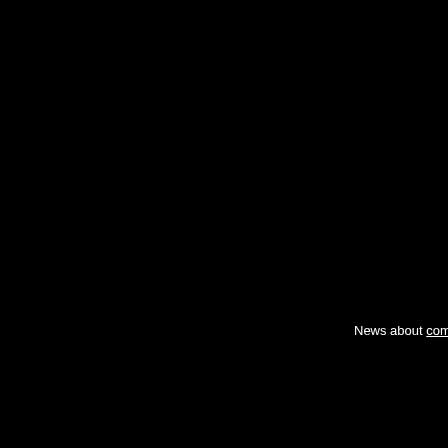News about compare air
The discounted airline
Here international disco